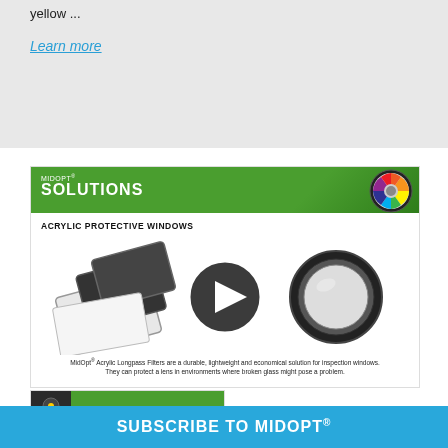yellow ...
Learn more
[Figure (illustration): MidOpt Solutions banner with green header showing MIDOPT SOLUTIONS text and color wheel logo, product photo of acrylic protective windows/filters with play button overlay, and caption text below]
MidOpt® Acrylic Longpass Filters are a durable, lightweight and economical solution for inspection windows. They can protect a lens in environments where broken glass might pose a problem.
[Figure (illustration): Partial view of another MidOpt Solutions card at the bottom]
SUBSCRIBE TO MIDOPT®